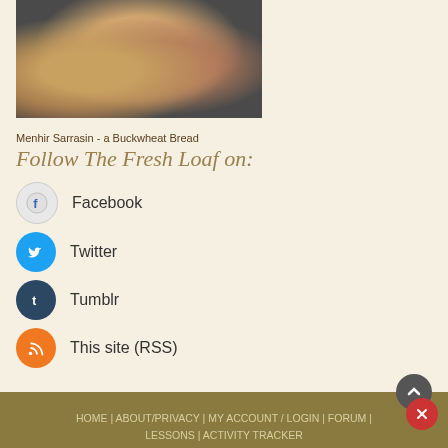[Figure (photo): Photo of buckwheat bread loaves on dark seeds background]
Menhir Sarrasin - a Buckwheat Bread
Follow The Fresh Loaf on:
Facebook
Twitter
Tumblr
This site (RSS)
HOME | ABOUT/PRIVACY | MY ACCOUNT / LOGIN | FORUM | LESSONS | ACTIVITY TRACKER
All original site content copyright 2022 The Fresh Loaf unless stated otherwise. Content posted by community members is their own. The Fresh Loaf is not responsible for community member content. If you see anything inappropriate on the site or have any questions, contact me at floydm at thefreshloaf dot com. This site is powered by Drupal.